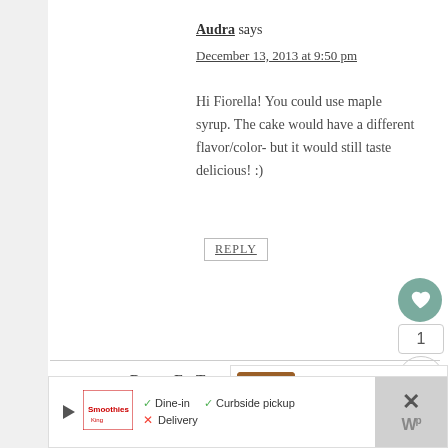Audra says
December 13, 2013 at 9:50 pm
Hi Fiorella! You could use maple syrup. The cake would have a different flavor/color- but it would still taste delicious! :)
REPLY
DessertForTwo says
December 13, 2013 at 1:56 pm
[Figure (screenshot): What's Next panel showing Blueberry Cream Pie with thumbnail]
[Figure (screenshot): Advertisement bar with Smoothies logo, dine-in/curbside pickup options, map icon, and close button]